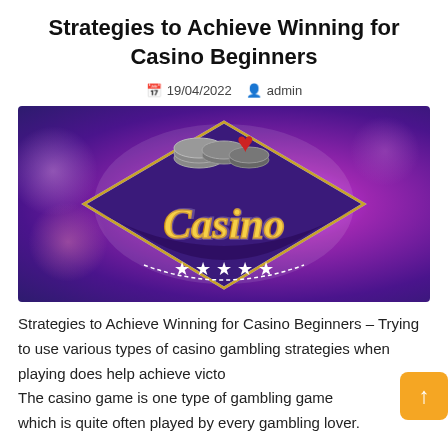Strategies to Achieve Winning for Casino Beginners
19/04/2022   admin
[Figure (illustration): Casino logo graphic with glowing 'Casino' text in gold script on a purple diamond/shield badge with white stars, playing card suits and poker chips above, on a pink/purple bokeh background.]
Strategies to Achieve Winning for Casino Beginners – Trying to use various types of casino gambling strategies when playing does help achieve victories. The casino game is one type of gambling game which is quite often played by every gambling lover.